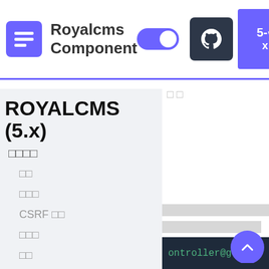Royalcms Component
ROYALCMS (5.x)
组件
路由
控制器
CSRF 防护
中间件
请求
响应
视图
URL
ontroller@getInd